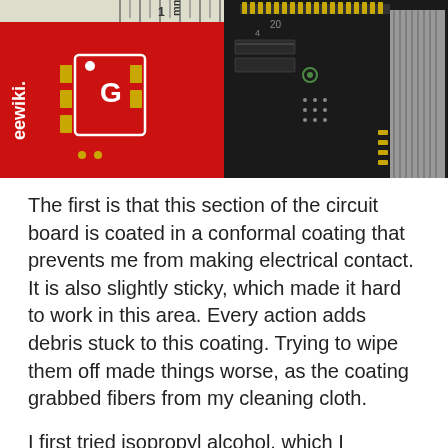[Figure (photo): Two close-up photos of circuit boards side by side. Left image shows a red PCB with white silkscreen markings including 'eewiki' text and a component labeled 'G', with a ruler showing millimeter scale along the top edge. Right image shows a dark/black circuit board with integrated circuits, solder joints, gold contacts, and a heatsink visible.]
The first is that this section of the circuit board is coated in a conformal coating that prevents me from making electrical contact. It is also slightly sticky, which made it hard to work in this area. Every action adds debris stuck to this coating. Trying to wipe them off made things worse, as the coating grabbed fibers from my cleaning cloth.
I first tried isopropyl alcohol, which I understood to be the default cleaning solvent for electronics. I had hoped it would dissolve the blue coating but I saw no effect. I have a collection of household cleaning solvents harsher than isopropyl alcohol, but I don't know which of them would damage electronics. Abandoning